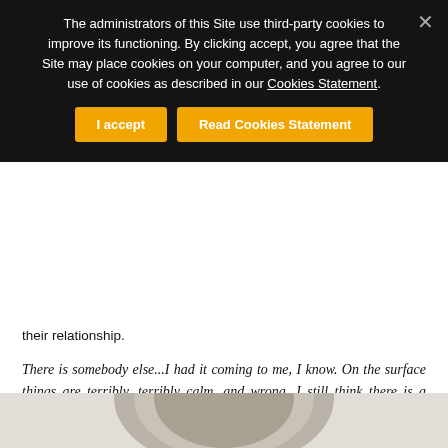The administrators of this Site use third-party cookies to improve its functioning. By clicking accept, you agree that the Site may place cookies on your computer, and you agree to our use of cookies as described in our Cookies Statement.
I accept | Read Cookies Statement
their relationship.
There is somebody else...I had it coming to me, I know. On the surface things are terribly, terribly calm, and wrong...I still think there is a chance that the outcome will be a happy one, but I would have to think that anyway, in order to live; so you can draw any conclusions you like from that!
On the evening of December 7, 1939, Barbara left their apartment after fighting. She was never seen again.
[Figure (photo): Black and white oval portrait photograph, partially visible at bottom of page]